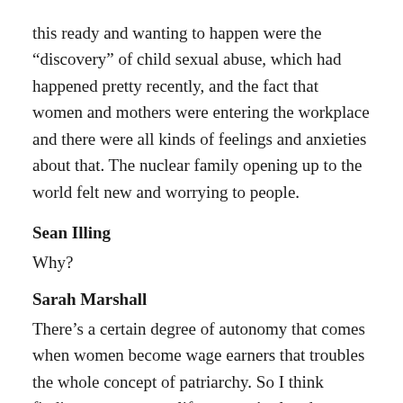this ready and wanting to happen were the “discovery” of child sexual abuse, which had happened pretty recently, and the fact that women and mothers were entering the workplace and there were all kinds of feelings and anxieties about that. The nuclear family opening up to the world felt new and worrying to people.
Sean Illing
Why?
Sarah Marshall
There’s a certain degree of autonomy that comes when women become wage earners that troubles the whole concept of patriarchy. So I think finding a way to amplify women’s already existing guilt and fear about leaving their children to be cared for by